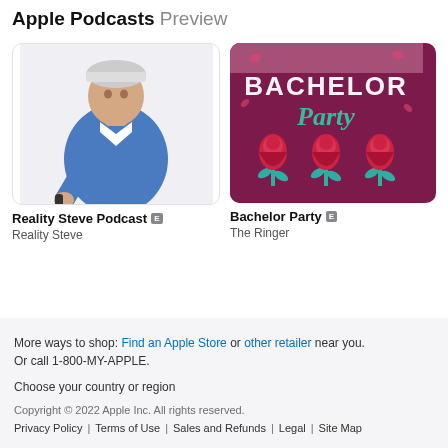Apple Podcasts Preview
[Figure (photo): Reality Steve Podcast cover art showing a man in a blue sweater pointing at the camera against a white background]
Reality Steve Podcast [E]
Reality Steve
[Figure (illustration): Bachelor Party podcast cover art with dark magenta/purple background, text BACHELOR in large letters and Party in teal script, with three red roses with teal stems]
Bachelor Party [E]
The Ringer
More ways to shop: Find an Apple Store or other retailer near you. Or call 1-800-MY-APPLE.
Choose your country or region
Copyright © 2022 Apple Inc. All rights reserved. Privacy Policy | Terms of Use | Sales and Refunds | Legal | Site Map